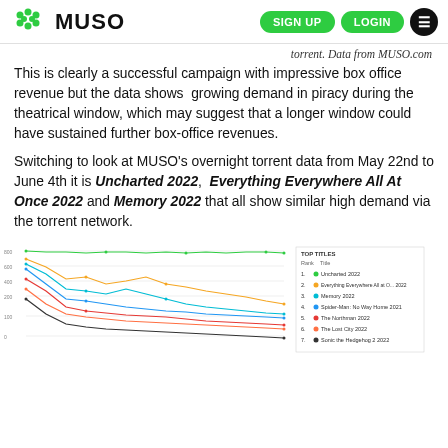MUSO | SIGN UP | LOGIN
torrent. Data from MUSO.com
This is clearly a successful campaign with impressive box office revenue but the data shows growing demand in piracy during the theatrical window, which may suggest that a longer window could have sustained further box-office revenues.
Switching to look at MUSO's overnight torrent data from May 22nd to June 4th it is Uncharted 2022, Everything Everywhere All At Once 2022 and Memory 2022 that all show similar high demand via the torrent network.
[Figure (line-chart): Line chart showing overnight torrent demand for top titles including Uncharted 2022, Everything Everywhere All at Once 2022, Memory 2022, Spider-Man: No Way Home 2021, The Northman 2022, The Lost City 2022, and Sonic the Hedgehog 2 2022 from May 22nd to June 4th. Multiple colored lines trending downward over time.]